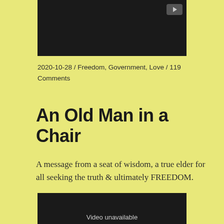[Figure (screenshot): Dark/black video player thumbnail at top of page with YouTube play button icon in top-right corner]
2020-10-28 / Freedom, Government, Love / 119 Comments
An Old Man in a Chair
A message from a seat of wisdom, a true elder for all seeking the truth & ultimately FREEDOM.
[Figure (screenshot): Dark/black video player at bottom of page with 'Video unavailable' text]